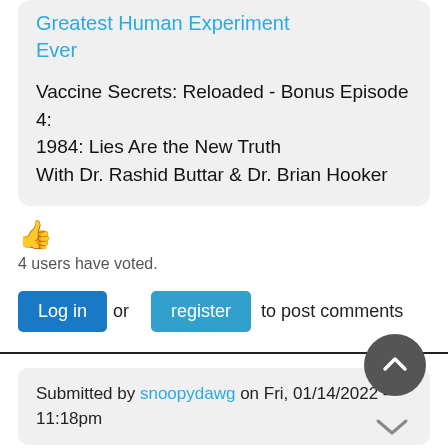Greatest Human Experiment Ever
Vaccine Secrets: Reloaded - Bonus Episode 4:
1984: Lies Are the New Truth
With Dr. Rashid Buttar & Dr. Brian Hooker
[Figure (illustration): Thumbs up emoji in orange/yellow color]
4 users have voted.
Log in or register to post comments
Submitted by snoopydawg on Fri, 01/14/2022 - 11:18pm
That was yesterday's episode